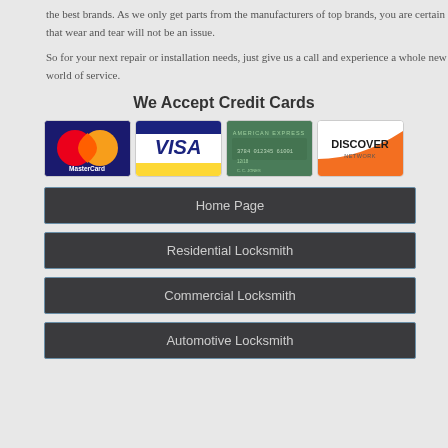the best brands. As we only get parts from the manufacturers of top brands, you are certain that wear and tear will not be an issue.
So for your next repair or installation needs, just give us a call and experience a whole new world of service.
We Accept Credit Cards
[Figure (other): Credit card logos: MasterCard, VISA, American Express, Discover Network]
Home Page
Residential Locksmith
Commercial Locksmith
Automotive Locksmith